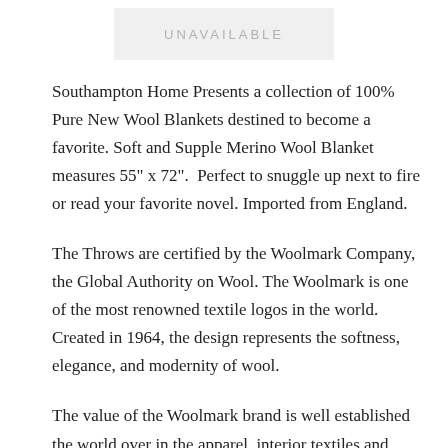[Figure (other): Gray rectangle placeholder labeled UNAVAILABLE]
Southampton Home Presents a collection of 100% Pure New Wool Blankets destined to become a favorite. Soft and Supple Merino Wool Blanket measures 55" x 72".  Perfect to snuggle up next to fire or read your favorite novel. Imported from England.
The Throws are certified by the Woolmark Company, the Global Authority on Wool. The Woolmark is one of the most renowned textile logos in the world. Created in 1964, the design represents the softness, elegance, and modernity of wool.
The value of the Woolmark brand is well established the world over in the apparel, interior textiles and home